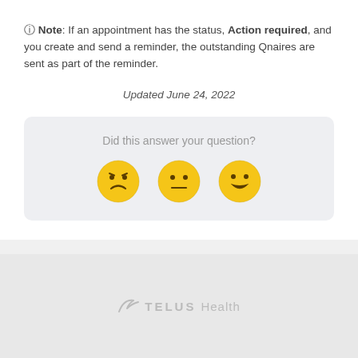🛈 Note: If an appointment has the status, Action required, and you create and send a reminder, the outstanding Qnaires are sent as part of the reminder.
Updated June 24, 2022
Did this answer your question?
[Figure (illustration): Three emoji faces: sad/frowning face, neutral face, and happy/grinning face arranged in a row as feedback buttons]
[Figure (logo): TELUS Health logo with stylized checkmark/swoosh icon in light gray]